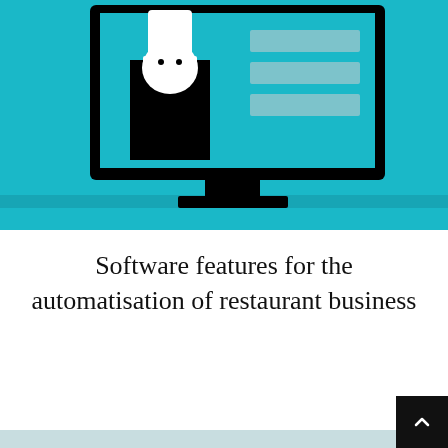[Figure (illustration): Illustration of a cartoon chef/waiter figure in white uniform with black body, sitting behind a computer monitor. The monitor shows grey rectangles (representing content/screens). The background is bright teal/cyan. The bottom of the image shows a darker teal shelf/desk area. Black monitor stand and base visible.]
Software features for the automatisation of restaurant business